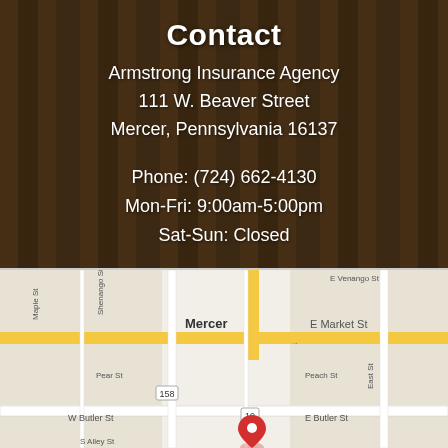Contact
Armstrong Insurance Agency
111 W. Beaver Street
Mercer, Pennsylvania 16137
Phone: (724) 662-4130
Mon-Fri: 9:00am-5:00pm
Sat-Sun: Closed
[Figure (infographic): Social media and location icons row: map pin, Yelp, Facebook, LinkedIn]
[Figure (map): Google Maps screenshot showing Mercer, Pennsylvania with streets including E Venango St, E Market St, Maple St, Shenango St, Pear St, Peach St, W Butler St, E Butler St, East St, and route markers 158 and 19. A red location pin is visible at the bottom center.]